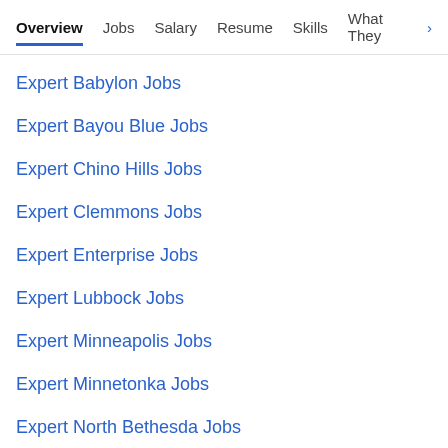Overview | Jobs | Salary | Resume | Skills | What They >
Expert Babylon Jobs
Expert Bayou Blue Jobs
Expert Chino Hills Jobs
Expert Clemmons Jobs
Expert Enterprise Jobs
Expert Lubbock Jobs
Expert Minneapolis Jobs
Expert Minnetonka Jobs
Expert North Bethesda Jobs
Expert Oklahoma City Jobs